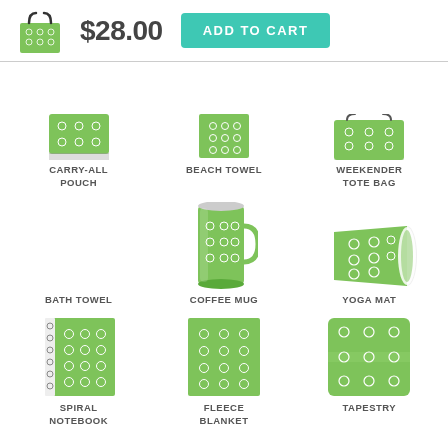[Figure (screenshot): Product header: green patterned tote bag thumbnail, price $28.00, ADD TO CART button]
[Figure (illustration): Carry-All Pouch product image with green floral pattern]
CARRY-ALL POUCH
[Figure (illustration): Beach Towel product image with green floral pattern]
BEACH TOWEL
[Figure (illustration): Weekender Tote Bag product image with green floral pattern]
WEEKENDER TOTE BAG
[Figure (illustration): Bath Towel product image (not visible, empty area)]
BATH TOWEL
[Figure (illustration): Coffee Mug product image with green floral pattern]
COFFEE MUG
[Figure (illustration): Yoga Mat product image with green floral pattern, rolled]
YOGA MAT
[Figure (illustration): Spiral Notebook product image with green floral pattern]
SPIRAL NOTEBOOK
[Figure (illustration): Fleece Blanket product image with green floral pattern]
FLEECE BLANKET
[Figure (illustration): Tapestry product image with green floral pattern]
TAPESTRY